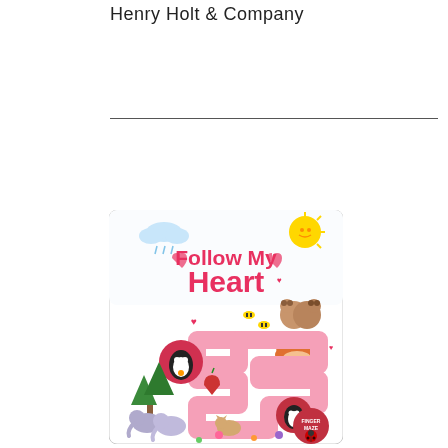Henry Holt & Company
[Figure (illustration): Book cover for 'Follow My Heart' finger maze children's board book. Features colorful cartoon animals including penguins, bears, foxes, cats, and elephants arranged around a pink winding maze path. Title text reads 'Follow My Heart' in pink and red. Decorated with hearts, flowers, trees, bees, clouds, and a sun. A red circular 'Finger Maze' badge appears in the bottom right corner.]